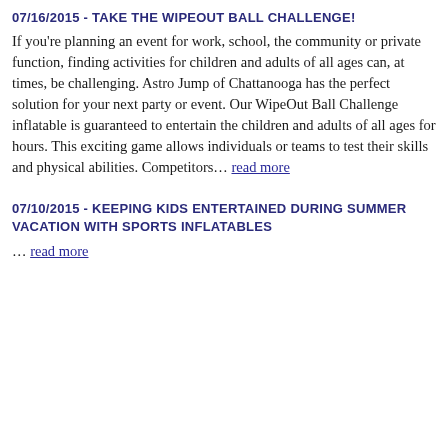07/16/2015 - TAKE THE WIPEOUT BALL CHALLENGE!
If you're planning an event for work, school, the community or private function, finding activities for children and adults of all ages can, at times, be challenging. Astro Jump of Chattanooga has the perfect solution for your next party or event. Our WipeOut Ball Challenge inflatable is guaranteed to entertain the children and adults of all ages for hours. This exciting game allows individuals or teams to test their skills and physical abilities. Competitors… read more
07/10/2015 - KEEPING KIDS ENTERTAINED DURING SUMMER VACATION WITH SPORTS INFLATABLES
… read more